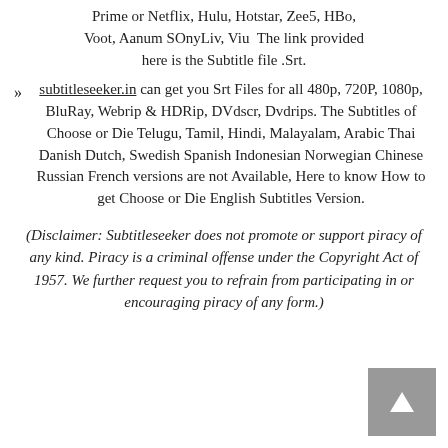Prime or Netflix, Hulu, Hotstar, Zee5, HBo, Voot, Aanum SOnyLiv, Viu  The link provided here is the Subtitle file .Srt.
subtitleseeker.in can get you Srt Files for all 480p, 720P, 1080p, BluRay, Webrip & HDRip, DVdscr, Dvdrips. The Subtitles of Choose or Die Telugu, Tamil, Hindi, Malayalam, Arabic Thai Danish Dutch, Swedish Spanish Indonesian Norwegian Chinese Russian French versions are not Available, Here to know How to get Choose or Die English Subtitles Version.
(Disclaimer: Subtitleseeker does not promote or support piracy of any kind. Piracy is a criminal offense under the Copyright Act of 1957. We further request you to refrain from participating in or encouraging piracy of any form.)